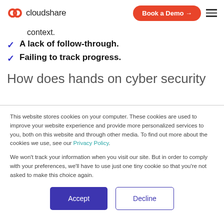cloudshare | Book a Demo →
context.
A lack of follow-through.
Failing to track progress.
How does hands on cyber security
This website stores cookies on your computer. These cookies are used to improve your website experience and provide more personalized services to you, both on this website and through other media. To find out more about the cookies we use, see our Privacy Policy.
We won't track your information when you visit our site. But in order to comply with your preferences, we'll have to use just one tiny cookie so that you're not asked to make this choice again.
Accept | Decline